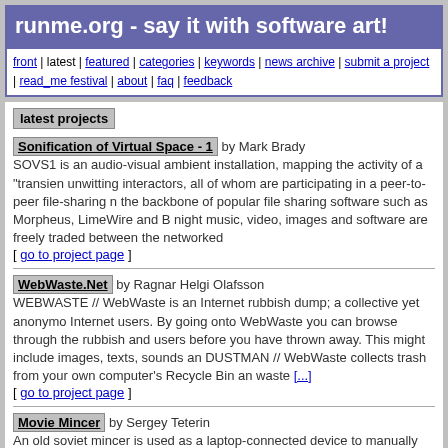runme.org - say it with software art!
front | latest | featured | categories | keywords | news archive | submit a project | read_me festival | about | faq | feedback
latest projects
Sonification of Virtual Space - 1 by Mark Brady
SOVS1 is an audio-visual ambient installation, mapping the activity of a "transien unwitting interactors, all of whom are participating in a peer-to-peer file-sharing n the backbone of popular file sharing software such as Morpheus, LimeWire and B night music, video, images and software are freely traded between the networked
[ go to project page ]
WebWaste.Net by Ragnar Helgi Olafsson
WEBWASTE // WebWaste is an Internet rubbish dump; a collective yet anonymo Internet users. By going onto WebWaste you can browse through the rubbish and users before you have thrown away. This might include images, texts, sounds an DUSTMAN // WebWaste collects trash from your own computer's Recycle Bin an waste [...]
[ go to project page ]
Movie Mincer by Sergey Teterin
An old soviet mincer is used as a laptop-connected device to manually generated (mincer > laptop > beamer > screen).Movie mincer allows to show motion picture mincer's handle reviving and paroding the atmosphere of the first performances f cinema era. [...]
[ go to project page ]